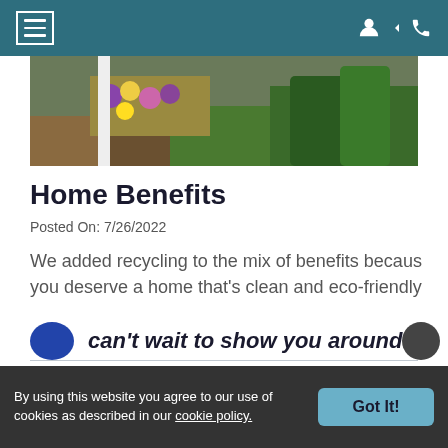Navigation bar with hamburger menu and account/phone icons
[Figure (photo): Garden/landscaping photo showing flowers and plants in a raised bed]
Home Benefits
Posted On: 7/26/2022
We added recycling to the mix of benefits because you deserve a home that's clean and eco-friendly
[Figure (other): Floor Plan Assistant vertical side panel button]
can't wait to show you around!
By using this website you agree to our use of cookies as described in our cookie policy.   Got It!